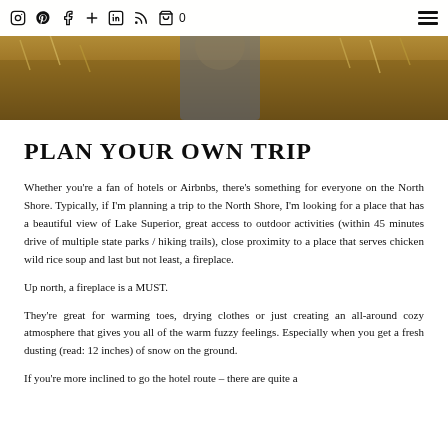Instagram Pinterest Facebook + LinkedIn RSS Cart 0 | Menu
[Figure (photo): Hero image of a person standing in tall golden grass/field at the North Shore]
PLAN YOUR OWN TRIP
Whether you're a fan of hotels or Airbnbs, there's something for everyone on the North Shore. Typically, if I'm planning a trip to the North Shore, I'm looking for a place that has a beautiful view of Lake Superior, great access to outdoor activities (within 45 minutes drive of multiple state parks / hiking trails), close proximity to a place that serves chicken wild rice soup and last but not least, a fireplace.
Up north, a fireplace is a MUST.
They're great for warming toes, drying clothes or just creating an all-around cozy atmosphere that gives you all of the warm fuzzy feelings. Especially when you get a fresh dusting (read: 12 inches) of snow on the ground.
If you're more inclined to go the hotel route – there are quite a